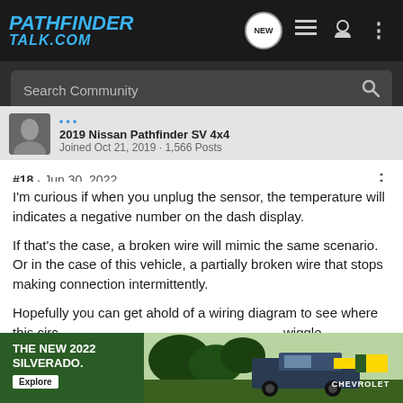[Figure (logo): PathfinderTalk.com logo in blue italic text on dark background]
Search Community
2019 Nissan Pathfinder SV 4x4
Joined Oct 21, 2019 · 1,566 Posts
#18 · Jun 30, 2022
I'm curious if when you unplug the sensor, the temperature will indicates a negative number on the dash display.
If that's the case, a broken wire will mimic the same scenario. Or in the case of this vehicle, a partially broken wire that stops making connection intermittently.
Hopefully you can get ahold of a wiring diagram to see where this circuit goes, so you can wiggle.
[Figure (photo): Chevrolet Silverado 2022 truck advertisement banner with THE NEW 2022 SILVERADO. text, Explore button, and Chevrolet logo]